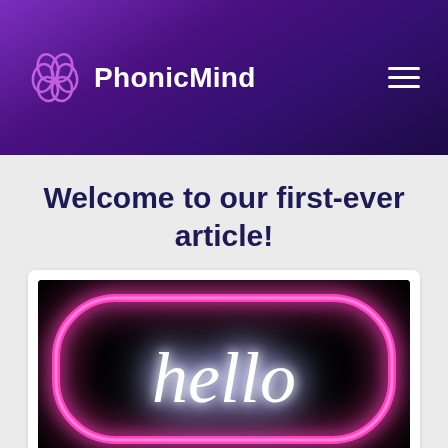PhonicMind
Welcome to our first-ever article!
[Figure (photo): A neon sign on a dark background showing the word 'hello' in white cursive neon light, surrounded by a pink/magenta neon oval border.]